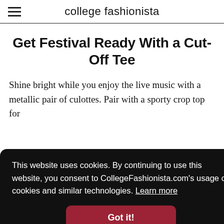college fashionista
Get Festival Ready With a Cut-Off Tee
Shine bright while you enjoy the live music with a metallic pair of culottes. Pair with a sporty crop top for
This website uses cookies. By continuing to use this website, you consent to CollegeFashionista.com's usage of cookies and similar technologies. Learn more
Got it!
[Figure (photo): Partial view of a photo at the bottom of the page, partially obscured by cookie banner]